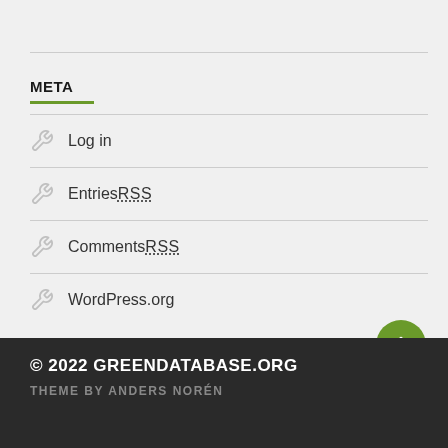META
Log in
Entries RSS
Comments RSS
WordPress.org
[Figure (illustration): Green circle with white upward arrow (back-to-top button)]
© 2022 GREENDATABASE.ORG
THEME BY ANDERS NORÉN